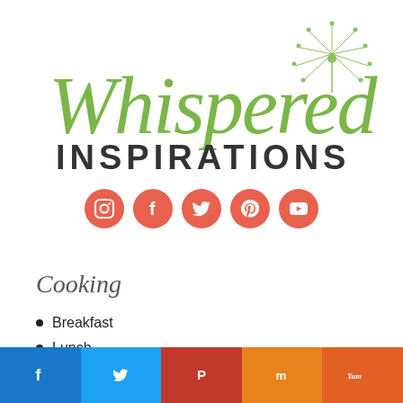[Figure (logo): Whispered Inspirations logo with green script text 'Whispered' and bold dark uppercase 'INSPIRATIONS', with a dandelion illustration in the top right]
[Figure (infographic): Row of 5 salmon/coral colored social media icon circles: Instagram, Facebook, Twitter, Pinterest, YouTube]
Cooking
Breakfast
Lunch
[Figure (infographic): Social share bar at bottom: Facebook (blue), Twitter (light blue), Pinterest (dark red), Mix (orange), Yummly (orange-red)]